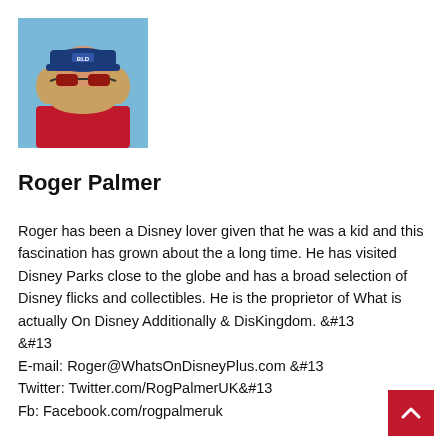[Figure (photo): Profile photo of Roger Palmer wearing a blue baseball cap and red sunglasses, in a red shirt, with a blue background]
Roger Palmer
Roger has been a Disney lover given that he was a kid and this fascination has grown about the a long time. He has visited Disney Parks close to the globe and has a broad selection of Disney flicks and collectibles. He is the proprietor of What is actually On Disney Additionally & DisKingdom. &#13
&#13
E-mail: Roger@WhatsOnDisneyPlus.com &#13
Twitter: Twitter.com/RogPalmerUK&#13
Fb: Facebook.com/rogpalmeruk